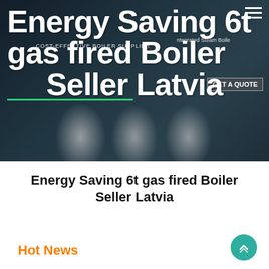[Figure (photo): Hero banner showing industrial gas-fired boilers in a factory/industrial setting with dark blue background. Overlay text reads 'Energy Saving 6t gas fired Boiler Seller Latvia'. Navigation hamburger menu top right. Green underline accent. GET A QUOTE button visible. COST-EFFECTIVE BOILER SUPPLIER subtitle text.]
Energy Saving 6t gas fired Boiler Seller Latvia
Hot News